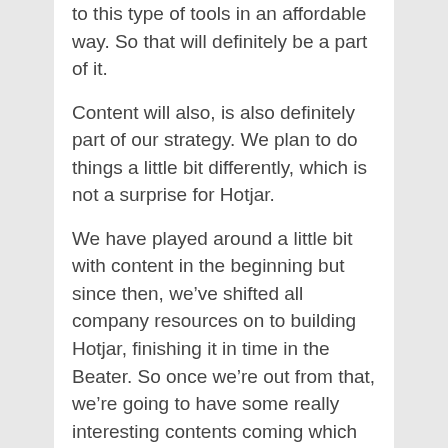to this type of tools in an affordable way. So that will definitely be a part of it.
Content will also, is also definitely part of our strategy. We plan to do things a little bit differently, which is not a surprise for Hotjar.
We have played around a little bit with content in the beginning but since then, we've shifted all company resources on to building Hotjar, finishing it in time in the Beater. So once we're out from that, we're going to have some really interesting contents coming which are much more, let's see, research-driven.
So four in one was interested to hear about that. We've put our blood on outside, that's HotJar.com. It's kind of our twist on outside the jar so...